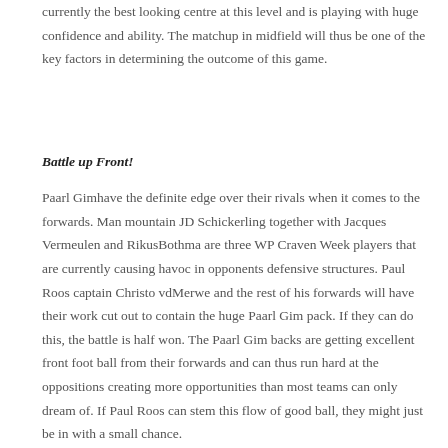currently the best looking centre at this level and is playing with huge confidence and ability. The matchup in midfield will thus be one of the key factors in determining the outcome of this game.
Battle up Front!
Paarl Gimhave the definite edge over their rivals when it comes to the forwards. Man mountain JD Schickerling together with Jacques Vermeulen and RikusBothma are three WP Craven Week players that are currently causing havoc in opponents defensive structures. Paul Roos captain Christo vdMerwe and the rest of his forwards will have their work cut out to contain the huge Paarl Gim pack. If they can do this, the battle is half won. The Paarl Gim backs are getting excellent front foot ball from their forwards and can thus run hard at the oppositions creating more opportunities than most teams can only dream of. If Paul Roos can stem this flow of good ball, they might just be in with a small chance.